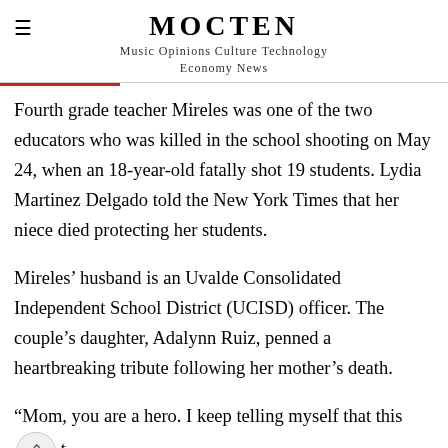MOCTEN
Music Opinions Culture Technology Economy News
Fourth grade teacher Mireles was one of the two educators who was killed in the school shooting on May 24, when an 18-year-old fatally shot 19 students. Lydia Martinez Delgado told the New York Times that her niece died protecting her students.
Mireles’ husband is an Uvalde Consolidated Independent School District (UCISD) officer. The couple’s daughter, Adalynn Ruiz, penned a heartbreaking tribute following her mother’s death.
“Mom, you are a hero. I keep telling myself that this isn’t real. I just want to hear your voice,” she wrote on